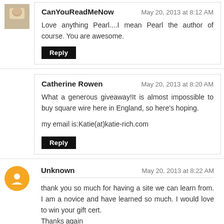CanYouReadMeNow — May 20, 2013 at 8:12 AM
Love anything Pearl....I mean Pearl the author of course. You are awesome.
Reply
Catherine Rowen — May 20, 2013 at 8:20 AM
What a generous giveaway!It is almost impossible to buy square wire here in England, so here's hoping.

my email is:Katie(at)katie-rich.com
Reply
Unknown — May 20, 2013 at 8:22 AM
thank you so much for having a site we can learn from. I am a novice and have learned so much. I would love to win your gift cert.
Thanks again
Treasa.brookman@gmail.com